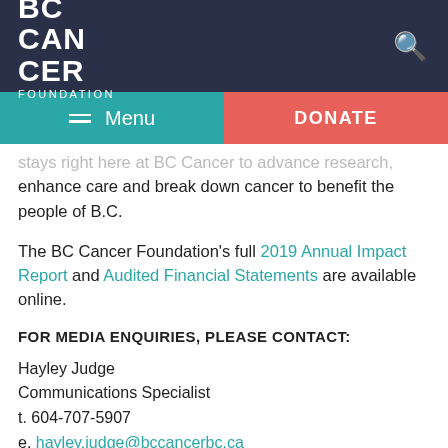BC CANCER FOUNDATION
stays right here at BC Cancer to advance research, enhance care and break down cancer to benefit the people of B.C.
The BC Cancer Foundation's full 2019 Annual Impact Report and Audited Financial Statements are available online.
FOR MEDIA ENQUIRIES, PLEASE CONTACT:
Hayley Judge
Communications Specialist
t. 604-707-5907
e. hayley.judge@bccancerbc.ca